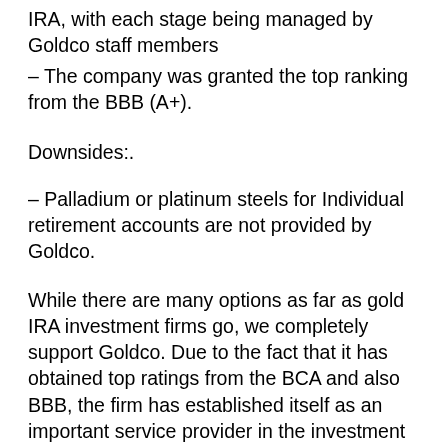IRA, with each stage being managed by Goldco staff members
– The company was granted the top ranking from the BBB (A+).
Downsides:.
– Palladium or platinum steels for Individual retirement accounts are not provided by Goldco.
While there are many options as far as gold IRA investment firms go, we completely support Goldco. Due to the fact that it has obtained top ratings from the BCA and also BBB, the firm has established itself as an important service provider in the investment industry. This trustworthy firm has a tried